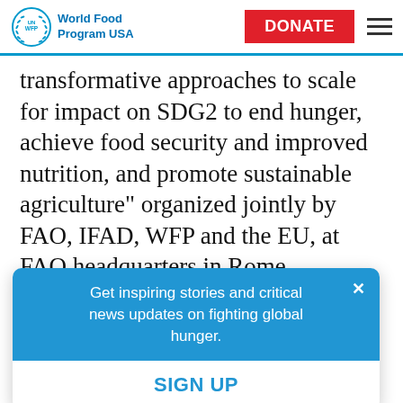UN WFP World Food Program USA | DONATE
transformative approaches to scale for impact on SDG2 to end hunger, achieve food security and improved nutrition, and promote sustainable agriculture” organized jointly by FAO, IFAD, WFP and the EU, at FAO headquarters in Rome.
FAO Contact: Irina Utkina, FAO/Rome, Tel.
[Figure (other): Blue popup modal: 'Get inspiring stories and critical news updates on fighting global hunger.' with a SIGN UP button and close (x) button.]
WFP Contact: Jane Howard, WFP/Rome, Tel.